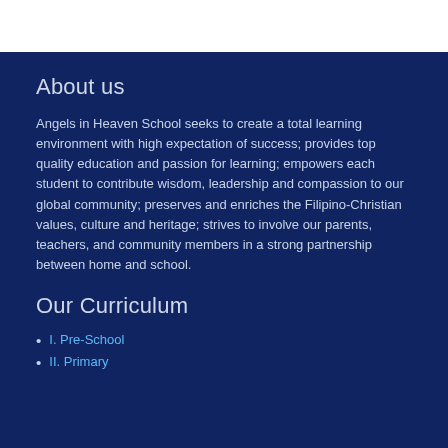About us
Angels in Heaven School seeks to create a total learning environment with high expectation of success; provides top quality education and passion for learning; empowers each student to contribute wisdom, leadership and compassion to our global community; preserves and enriches the Filipino-Christian values, culture and heritage; strives to involve our parents, teachers, and community members in a strong partnership between home and school.
Our Curriculum
I. Pre-School
II. Primary